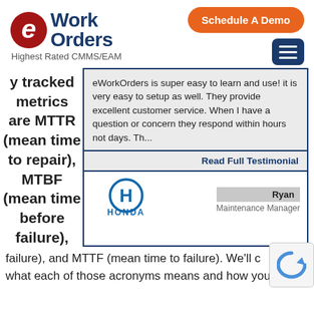[Figure (logo): eWorkOrders logo with red circular e icon and dark blue Work Orders text, with tagline Highest Rated CMMS/EAM]
[Figure (other): Orange rounded rectangle button with white bold text: Schedule A Demo]
[Figure (other): Dark blue square hamburger menu icon with three white horizontal lines]
y tracked metrics are MTTR (mean time to repair), MTBF (mean time before failure), and MTTF (mean time to failure). We'll cover what each of those acronyms means and how you can
eWorkOrders is super easy to learn and use! it is very easy to setup as well. They provide excellent customer service. When I have a question or concern they respond within hours not days. Th...
Read Full Testimonial
[Figure (logo): Honda logo in blue with HONDA text below]
Ryan
Maintenance Manager